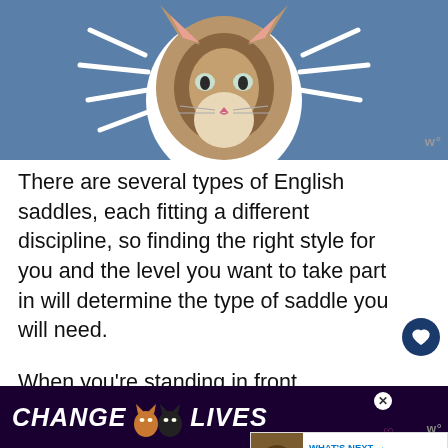[Figure (illustration): Cat illustration on blue background with white decorative lines/streaks around the cat's head]
There are several types of English saddles, each fitting a different discipline, so finding the right style for you and the level you want to take part in will determine the type of saddle you will need.
When you're standing in front of rows and rows of saddles, it can be overwhelming, to say the least, but let me break it down so you have a better understanding of what saddle you may be looking for.
[Figure (screenshot): Bottom advertisement banner: CHANGE [cat icons] LIVES on dark purple background]